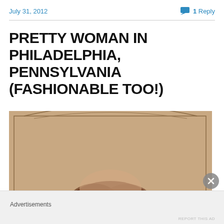July 31, 2012
1 Reply
PRETTY WOMAN IN PHILADELPHIA, PENNSYLVANIA (FASHIONABLE TOO!)
[Figure (photo): Old photograph showing the top portion of a vintage carte-de-visite or cabinet card. The card has a decorative arched border with a pencil-line frame. Partially visible is the top of a woman's head with dark styled hair.]
Advertisements